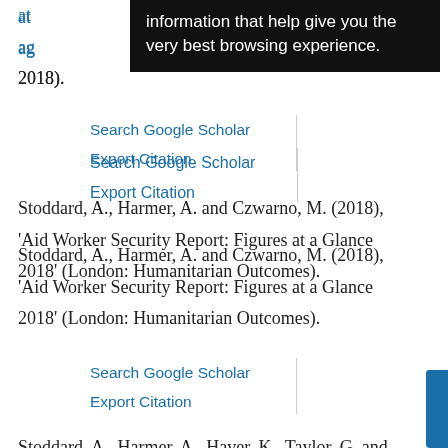at... ag... 2018).
Search Google Scholar
Export Citation
Stoddard, A., Harmer, A. and Czwarno, M. (2018), 'Aid Worker Security Report: Figures at a Glance 2018' (London: Humanitarian Outcomes).
Search Google Scholar
Export Citation
Stoddard, A., Harmer, A., Haver, K., Taylor, G. and Harvey, P. (2015), The State of the Humanitarian System,